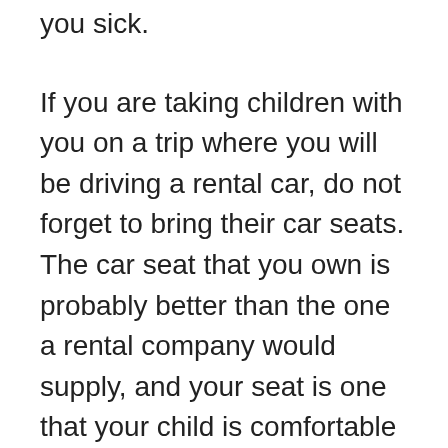you sick.
If you are taking children with you on a trip where you will be driving a rental car, do not forget to bring their car seats. The car seat that you own is probably better than the one a rental company would supply, and your seat is one that your child is comfortable with.
Contact lenses should be in a case when you going on a trip. If you are only using a small bit of these products, carry them in one of these containers.
Traveling is often times something that people want to do at some point. Being prepared for